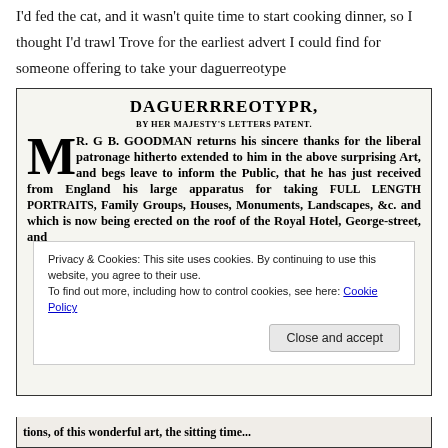I'd fed the cat, and it wasn't quite time to start cooking dinner, so I thought I'd trawl Trove for the earliest advert I could find for someone offering to take your daguerreotype
[Figure (screenshot): Scanned newspaper advertisement for DAGUERREOTYPE by Her Majesty's Letters Patent. MR. G B. GOODMAN returns his sincere thanks for the liberal patronage hitherto extended to him in the above surprising Art, and begs leave to inform the Public, that he has just received from England his large apparatus for taking FULL LENGTH PORTRAITS, Family Groups, Houses, Monuments, Landscapes, &c. and which is now being erected on the roof of the Royal Hotel, George-street, and]
Privacy & Cookies: This site uses cookies. By continuing to use this website, you agree to their use.
To find out more, including how to control cookies, see here: Cookie Policy
tions, of this wonderful art, the sitting time...